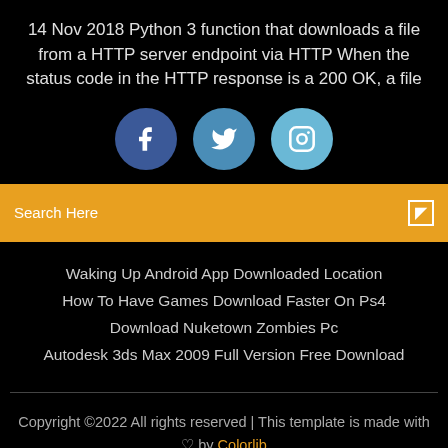14 Nov 2018 Python 3 function that downloads a file from a HTTP server endpoint via HTTP When the status code in the HTTP response is a 200 OK, a file
[Figure (illustration): Three social media icon circles: Facebook (dark blue), Twitter (medium blue), Instagram (light blue)]
Search Here
Waking Up Android App Downloaded Location
How To Have Games Download Faster On Ps4
Download Nuketown Zombies Pc
Autodesk 3ds Max 2009 Full Version Free Download
Copyright ©2022 All rights reserved | This template is made with ♡ by Colorlib